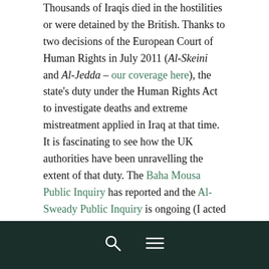Thousands of Iraqis died in the hostilities or were detained by the British. Thanks to two decisions of the European Court of Human Rights in July 2011 (Al-Skeini and Al-Jedda – our coverage here), the state's duty under the Human Rights Act to investigate deaths and extreme mistreatment applied in Iraq at that time. It is fascinating to see how the UK authorities have been unravelling the extent of that duty. The Baha Mousa Public Inquiry has reported and the Al-Sweady Public Inquiry is ongoing (I acted in the former and still do in the latter). In this major judgment, which may yet be appealed, the High Court has ruled the manner in which the UK Government is investigating deaths and perhaps mistreatment is insufficient to satisfy its investigative duty.
Continue reading →
Share:
Navigation bar with search and menu icons